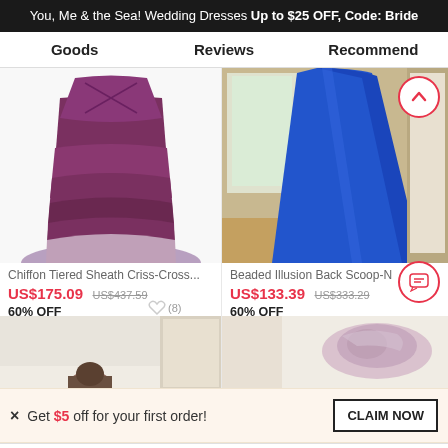You, Me & the Sea! Wedding Dresses Up to $25 OFF, Code: Bride
Goods | Reviews | Recommend
[Figure (photo): Purple tiered chiffon formal dress, bottom half visible]
[Figure (photo): Royal blue formal dress in a room setting, full length visible]
Chiffon Tiered Sheath Criss-Cross...
US$175.09  US$437.59
60% OFF
Beaded Illusion Back Scoop-N
US$133.39  US$333.29
60% OFF
[Figure (photo): Partial view of a person in a room, top portion cut off]
[Figure (photo): Partial view of a hat or accessory, top portion cut off]
× Get $5 off for your first order!
CLAIM NOW
ADD TO BAG